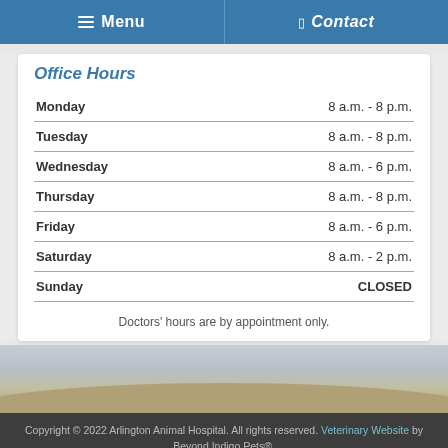Menu  Contact
Office Hours
| Day | Hours |
| --- | --- |
| Monday | 8 a.m. - 8 p.m. |
| Tuesday | 8 a.m. - 8 p.m. |
| Wednesday | 8 a.m. - 6 p.m. |
| Thursday | 8 a.m. - 8 p.m. |
| Friday | 8 a.m. - 6 p.m. |
| Saturday | 8 a.m. - 2 p.m. |
| Sunday | CLOSED |
Doctors' hours are by appointment only.
Copyright © 2022 Arlington Animal Hospital. All rights reserved. Veterinary Website by Beyond Indigo Pets®.